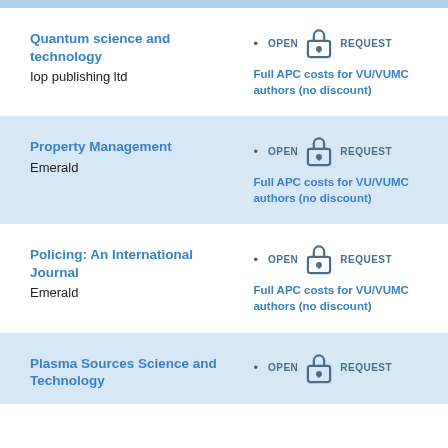Quantum science and technology
Iop publishing ltd
Full APC costs for VU/VUMC authors (no discount)
Property Management
Emerald
Full APC costs for VU/VUMC authors (no discount)
Policing: An International Journal
Emerald
Full APC costs for VU/VUMC authors (no discount)
Plasma Sources Science and Technology
Full APC costs for VU/VUMC authors (no discount)